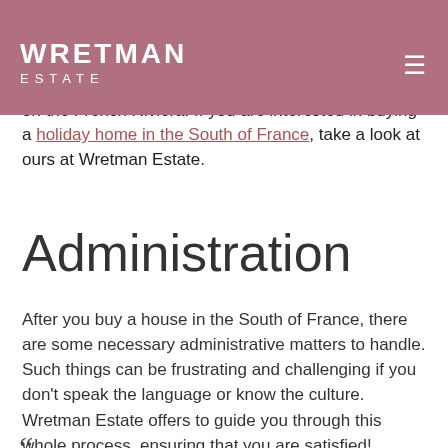WRETMAN ESTATE
to maintain your property. Maybe you want to rent it out? Maybe you've struggling to keep the garden in shape while you are away? We will guide you through all you need to know when owning a property on the French Riviera! If you are interested in buying a holiday home in the South of France, take a look at ours at Wretman Estate.
Administration
After you buy a house in the South of France, there are some necessary administrative matters to handle. Such things can be frustrating and challenging if you don't speak the language or know the culture. Wretman Estate offers to guide you through this whole process, ensuring that you are satisfied!